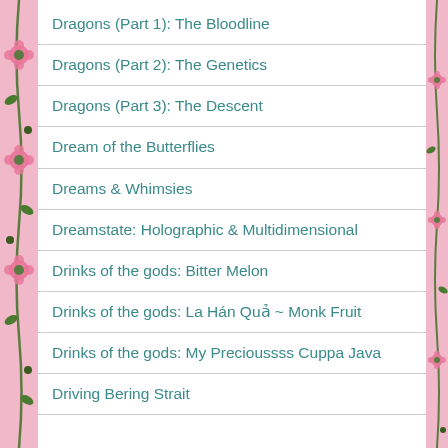Dragons (Part 1): The Bloodline
Dragons (Part 2): The Genetics
Dragons (Part 3): The Descent
Dream of the Butterflies
Dreams & Whimsies
Dreamstate: Holographic & Multidimensional
Drinks of the gods: Bitter Melon
Drinks of the gods: La Hán Quả ~ Monk Fruit
Drinks of the gods: My Precioussss Cuppa Java
Driving Bering Strait